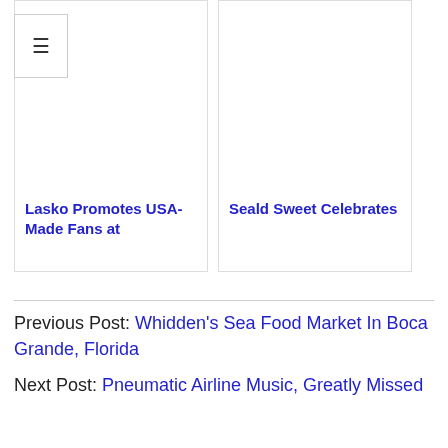[Figure (screenshot): Menu icon (hamburger) in top-left corner, three horizontal lines]
[Figure (screenshot): Card with white image area for Lasko Promotes USA-Made Fans at]
Lasko Promotes USA-Made Fans at
[Figure (screenshot): Card with white image area for Seald Sweet Celebrates]
Seald Sweet Celebrates
Previous Post: Whidden's Sea Food Market In Boca Grande, Florida
Next Post: Pneumatic Airline Music, Greatly Missed